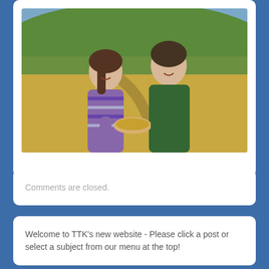[Figure (photo): Two women smiling and holding grain in their cupped hands, standing in a field of golden crops with green rolling hills and blue sky in the background.]
Comments are closed.
Welcome to TTK's new website - Please click a post or select a subject from our menu at the top!